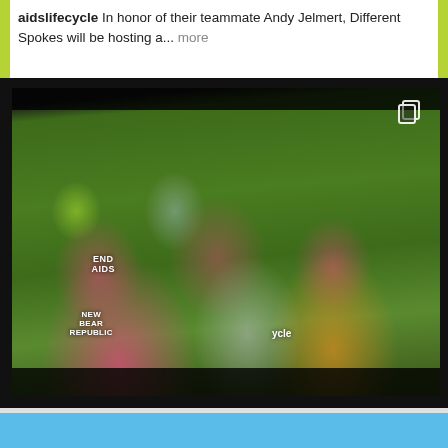aidslifecycle In honor of their teammate Andy Jelmert, Different Spokes will be hosting a... more
[Figure (photo): Group selfie of cyclists at an outdoor event. Front center person wears a pink jersey reading 'NEW BEAR REPUBLIC' and a helmet band reading 'END AIDS'. Others wear pink cycling jerseys, helmets, and colorful gear. Green grass field in background. White copy/gallery icon in top right corner.]